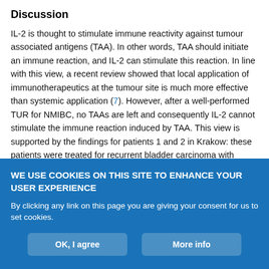Discussion
IL-2 is thought to stimulate immune reactivity against tumour associated antigens (TAA). In other words, TAA should initiate an immune reaction, and IL-2 can stimulate this reaction. In line with this view, a recent review showed that local application of immunotherapeutics at the tumour site is much more effective than systemic application (7). However, after a well-performed TUR for NMIBC, no TAAs are left and consequently IL-2 cannot stimulate the immune reaction induced by TAA. This view is supported by the findings for patients 1 and 2 in Krakow: these patients were treated for recurrent bladder carcinoma with complete TUR for many years
WE USE COOKIES ON THIS SITE TO ENHANCE YOUR USER EXPERIENCE
By clicking any link on this page you are giving your consent for us to set cookies.